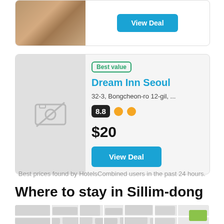[Figure (photo): Partial hotel card with room photo and View Deal button]
Best value
Dream Inn Seoul
32-3, Bongcheon-ro 12-gil, ...
8.8
$20
View Deal
Best prices found by HotelsCombined users in the past 24 hours.
Where to stay in Sillim-dong
[Figure (map): Street map of Sillim-dong area showing road blocks and a green park area]